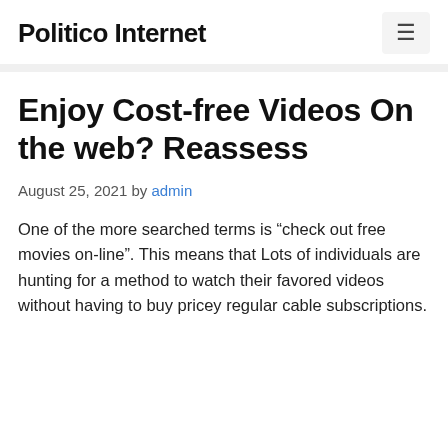Politico Internet
Enjoy Cost-free Videos On the web? Reassess
August 25, 2021 by admin
One of the more searched terms is “check out free movies on-line”. This means that Lots of individuals are hunting for a method to watch their favored videos without having to buy pricey regular cable subscriptions.